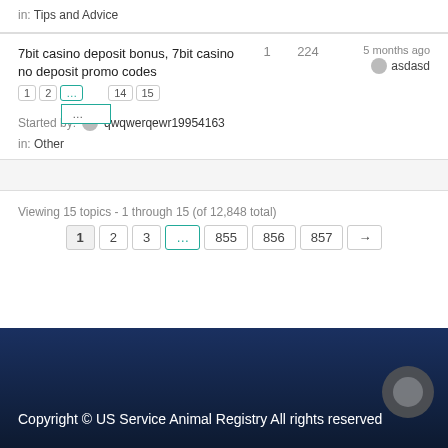in: Tips and Advice
7bit casino deposit bonus, 7bit casino no deposit promo codes
1   224   5 months ago   asdasd
Started by: qwqwerqewr19954163
in: Other
Viewing 15 topics - 1 through 15 (of 12,848 total)
1 2 3 ... 855 856 857 →
Copyright © US Service Animal Registry All rights reserved